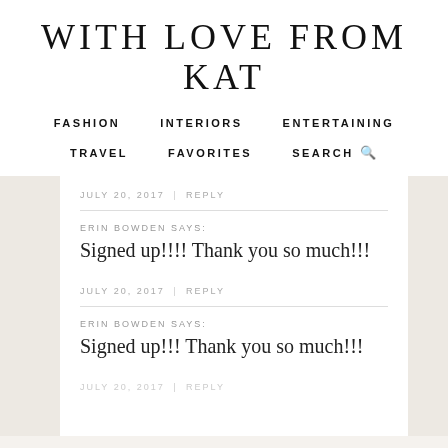WITH LOVE FROM KAT
FASHION   INTERIORS   ENTERTAINING   TRAVEL   FAVORITES   SEARCH
JULY 20, 2017 | REPLY
ERIN BOWDEN SAYS:
Signed up!!!! Thank you so much!!!
JULY 20, 2017 | REPLY
ERIN BOWDEN SAYS:
Signed up!!! Thank you so much!!!
JULY 20, 2017 | REPLY